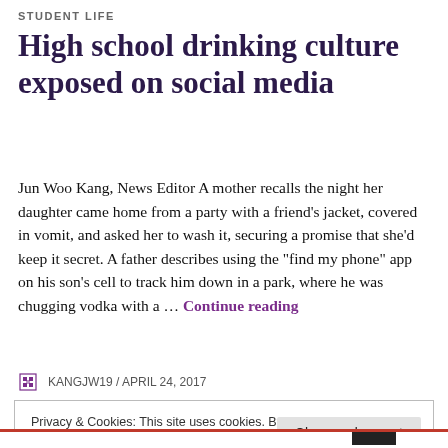STUDENT LIFE
High school drinking culture exposed on social media
Jun Woo Kang, News Editor A mother recalls the night her daughter came home from a party with a friend's jacket, covered in vomit, and asked her to wash it, securing a promise that she'd keep it secret. A father describes using the "find my phone" app on his son's cell to track him down in a park, where he was chugging vodka with a … Continue reading
KANGJW19 / APRIL 24, 2017
Privacy & Cookies: This site uses cookies. By continuing to use this website, you agree to their use.
To find out more, including how to control cookies, see here: Cookie Policy
Close and accept